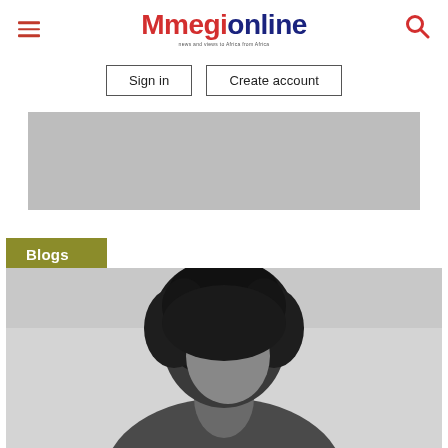Mmegionline
Sign in | Create account
[Figure (other): Gray advertisement banner placeholder]
Blogs
[Figure (photo): Black and white photograph of a person with curly hair, shown from behind/side angle]